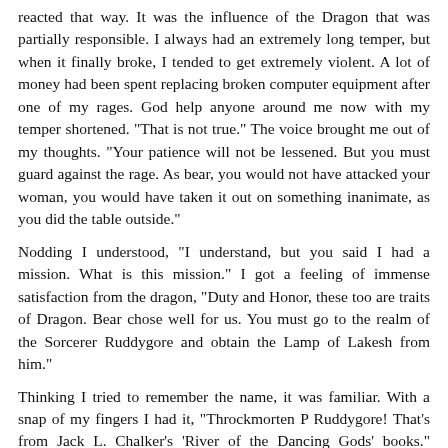reacted that way. It was the influence of the Dragon that was partially responsible. I always had an extremely long temper, but when it finally broke, I tended to get extremely violent. A lot of money had been spent replacing broken computer equipment after one of my rages. God help anyone around me now with my temper shortened. "That is not true." The voice brought me out of my thoughts. "Your patience will not be lessened. But you must guard against the rage. As bear, you would not have attacked your woman, you would have taken it out on something inanimate, as you did the table outside."
Nodding I understood, "I understand, but you said I had a mission. What is this mission." I got a feeling of immense satisfaction from the dragon, "Duty and Honor, these too are traits of Dragon. Bear chose well for us. You must go to the realm of the Sorcerer Ruddygore and obtain the Lamp of Lakesh from him."
Thinking I tried to remember the name, it was familiar. With a snap of my fingers I had it, "Throckmorten P Ruddygore! That's from Jack L. Chalker's 'River of the Dancing Gods' books." Again, the breeze as he inhaled, "Yes, he is the chronicler of your world that has seen that reality. Though he has shown you a window into the realm, beware for he has not shown all that is there and some of it was changed to be more.... palatable to those in your world. Do not presume you know something to be the truth simply because of his chronicles."